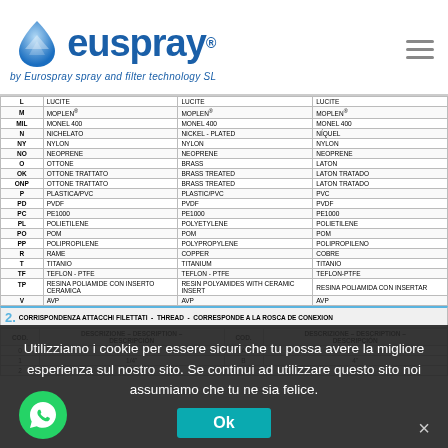[Figure (logo): Euspray logo with water droplet icon and tagline 'by Eurospray spray and filter technology SL']
| COD. | DESCRIZIONE | DESCRIPTION | DESCRIPCIÓN |
| --- | --- | --- | --- |
| L | LUCITE | LUCITE | LUCITE |
| M | MOPLEN | MOPLEN | MOPLEN |
| MIL | MONEL 400 | MONEL 400 | MONEL 400 |
| N | NICHELATO | NICKEL - PLATED | NÍQUEL |
| NY | NYLON | NYLON | NYLON |
| NO | NEOPRENE | NEOPRENE | NEOPRENE |
| O | OTTONE | BRASS | LATON |
| OK | OTTONE TRATTATO | BRASS TREATED | LATON TRATADO |
| ONP | OTTONE TRATTATO | BRASS TREATED | LATON TRATADO |
| P | PLASTICA/PVC | PLASTIC/PVC | PVC |
| PD | PVDF | PVDF | PVDF |
| PC | PE1000 | PE1000 | PE1000 |
| PL | POLIETILENE | POLYETYLENE | POLIETILENE |
| PO | POM | POM | POM |
| PP | POLIPROPILENE | POLYPROPYLENE | POLIPROPILENO |
| R | RAME | COPPER | COBRE |
| T | TITANIO | TITANIUM | TITANIO |
| TF | TEFLON - PTFE | TEFLON - PTFE | TEFLON-PTFE |
| TP | RESINA POLIAMIDE CON INSERTO CERAMICA | RESIN POLYAMIDES WITH CERAMIC INSERT | RESINA POLIAMIDA CON INSERTAR |
| V | AVP | AVP | AVP |
2. CORRISPONDENZA ATTACCHI FILETTATI - THREAD - CORRESPONDE A LA ROSCA DE CONEXION
| COD. | DESCRIZIONE - DESCRIPTION - DESCRIPCIÓN | COD. | DESCRIZIONE - DESCRIPTION - DESCRIPCIÓN |
| --- | --- | --- | --- |
| 0 | 1/8" | A | 3" |
| 1 | 1/4" | B | 4" |
| 2 | 3/8" | C | 5" |
Utilizziamo i cookie per essere sicuri che tu possa avere la migliore esperienza sul nostro sito. Se continui ad utilizzare questo sito noi assumiamo che tu ne sia felice.